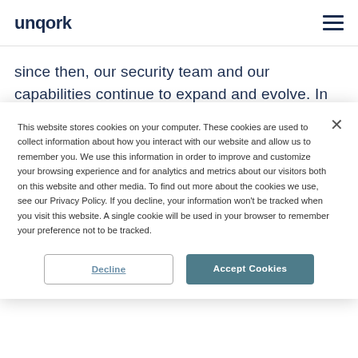unqork
since then, our security team and our capabilities continue to expand and evolve. In this guide, we will
This website stores cookies on your computer. These cookies are used to collect information about how you interact with our website and allow us to remember you. We use this information in order to improve and customize your browsing experience and for analytics and metrics about our visitors both on this website and other media. To find out more about the cookies we use, see our Privacy Policy. If you decline, your information won't be tracked when you visit this website. A single cookie will be used in your browser to remember your preference not to be tracked.
Decline
Accept Cookies